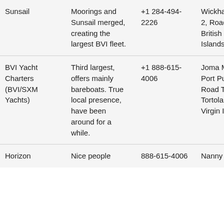| Company | Description | Phone | Address | Link |
| --- | --- | --- | --- | --- |
| Sunsail | Moorings and Sunsail merged, creating the largest BVI fleet. | +1 284-494-2226 | Wickhams Cay 2, Road Town, British Virgin Islands | S… |
| BVI Yacht Charters (BVI/SXM Yachts) | Third largest, offers mainly bareboats. True local presence, have been around for a while. | +1 888-615-4006 | Joma Marina, Port Purcell Road Town, Tortola British Virgin Islands | b… |
| Horizon | Nice people | 888-615-4006 | Nanny | h… |